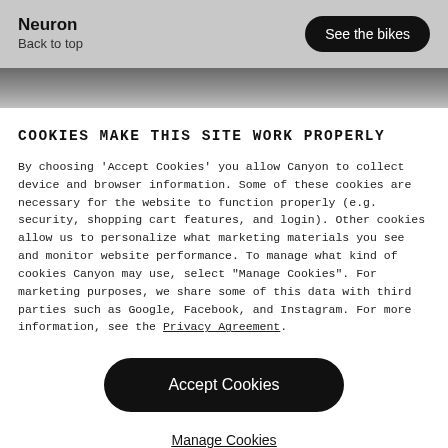Neuron
Back to top
See the bikes
[Figure (photo): Close-up photo strip of bike parts, dark tones]
COOKIES MAKE THIS SITE WORK PROPERLY
By choosing 'Accept Cookies' you allow Canyon to collect device and browser information. Some of these cookies are necessary for the website to function properly (e.g. security, shopping cart features, and login). Other cookies allow us to personalize what marketing materials you see and monitor website performance. To manage what kind of cookies Canyon may use, select "Manage Cookies". For marketing purposes, we share some of this data with third parties such as Google, Facebook, and Instagram. For more information, see the Privacy Agreement.
Accept Cookies
Manage Cookies